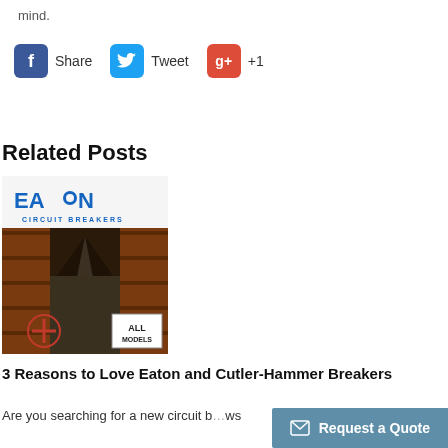mind.
[Figure (infographic): Social sharing buttons: Facebook Share, Twitter Tweet, Google+ +1]
Related Posts
[Figure (photo): Eaton Circuit Breakers warehouse image with ALL MODELS badge]
3 Reasons to Love Eaton and Cutler-Hammer Breakers
Are you searching for a new circuit b... ws
[Figure (infographic): Request a Quote button with envelope icon]